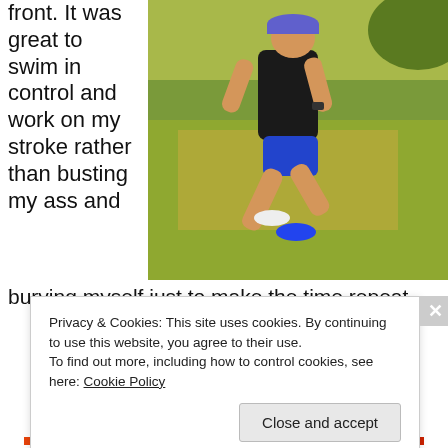front. It was great to swim in control and work on my stroke rather than busting my ass and
[Figure (photo): Athlete in black tank top and blue shorts running on grass, wearing a blue cap, outdoors in a park-like setting]
burying myself just to make the time repeat.
Privacy & Cookies: This site uses cookies. By continuing to use this website, you agree to their use. To find out more, including how to control cookies, see here: Cookie Policy
Close and accept